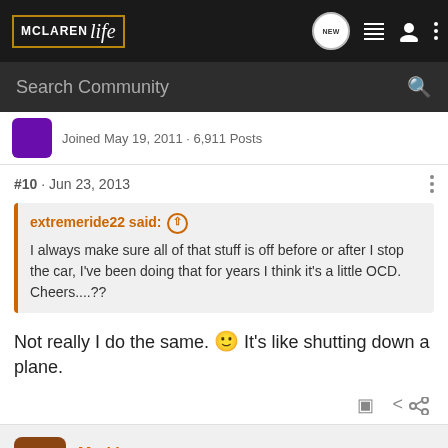McLaren Life — Search Community
Joined May 19, 2011 · 6,911 Posts
#10 · Jun 23, 2013
extremeride22 said: ↑
I always make sure all of that stuff is off before or after I stop the car, I've been doing that for years I think it's a little OCD. Cheers....??
Not really I do the same. 🙂 It's like shutting down a plane.
Markjayw · Registered 🇺🇸
Joined Jul 26, 2012 · 1,523 Posts